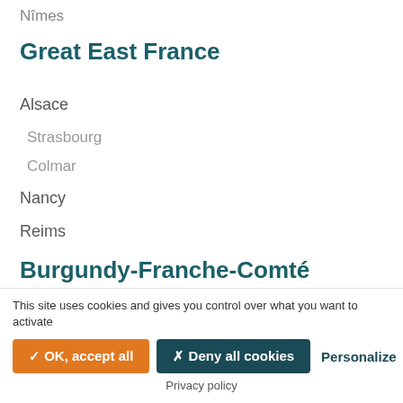Nîmes
Great East France
Alsace
Strasbourg
Colmar
Nancy
Reims
Burgundy-Franche-Comté
Dijon
Corsica
Centre-Val de Loire
Tours
This site uses cookies and gives you control over what you want to activate
✓ OK, accept all  ✗ Deny all cookies  Personalize
Privacy policy